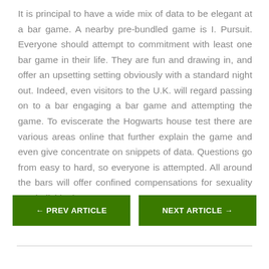It is principal to have a wide mix of data to be elegant at a bar game. A nearby pre-bundled game is I. Pursuit. Everyone should attempt to commitment with least one bar game in their life. They are fun and drawing in, and offer an upsetting setting obviously with a standard night out. Indeed, even visitors to the U.K. will regard passing on to a bar engaging a bar game and attempting the game. To eviscerate the Hogwarts house test there are various areas online that further explain the game and even give concentrate on snippets of data. Questions go from easy to hard, so everyone is attempted. All around the bars will offer confined compensations for sexuality test individuals.
← PREV ARTICLE
NEXT ARTICLE →